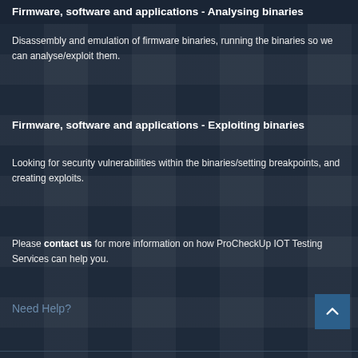Firmware, software and applications - Analysing binaries
Disassembly and emulation of firmware binaries, running the binaries so we can analyse/exploit them.
Firmware, software and applications - Exploiting binaries
Looking for security vulnerabilities within the binaries/setting breakpoints, and creating exploits.
Please contact us for more information on how ProCheckUp IOT Testing Services can help you.
Need Help?